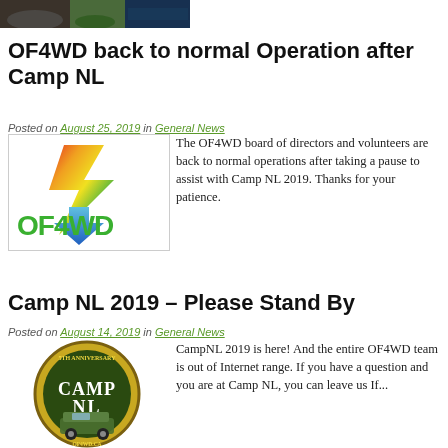[Figure (photo): Top banner image showing outdoor/nature scenes]
OF4WD back to normal Operation after Camp NL
Posted on August 25, 2019 in General News
[Figure (logo): OF4WD logo with lightning bolt and green text]
The OF4WD board of directors and volunteers are back to normal operations after taking a pause to assist with Camp NL 2019. Thanks for your patience.
Camp NL 2019 – Please Stand By
Posted on August 14, 2019 in General News
[Figure (logo): Camp NL 2019 circular badge logo with jeep]
CampNL 2019 is here! And the entire OF4WD team is out of Internet range. If you have a question and you are at Camp NL, you can leave us If...